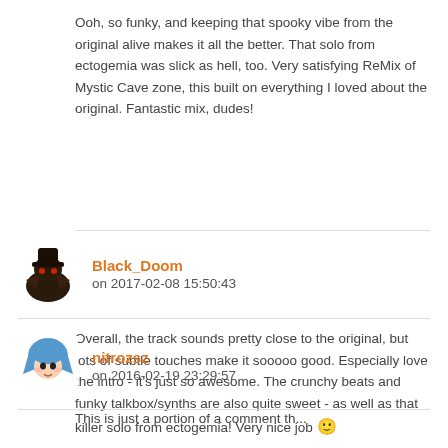Ooh, so funky, and keeping that spooky vibe from the original alive makes it all the better. That solo from ectogemia was slick as hell, too. Very satisfying ReMix of Mystic Cave zone, this built on everything I loved about the original. Fantastic mix, dudes!
Black_Doom
on 2017-02-08 15:50:43
Overall, the track sounds pretty close to the original, but lots of subtle touches make it sooooo good. Especially love the intro - it's just so awesome. The crunchy beats and funky talkbox/synths are also quite sweet - as well as that killer solo from ectogemia! Very nice job 🙂
nitrozsz
on 2016-02-19 23:29:57
This is just a portion of a comment that continues below.